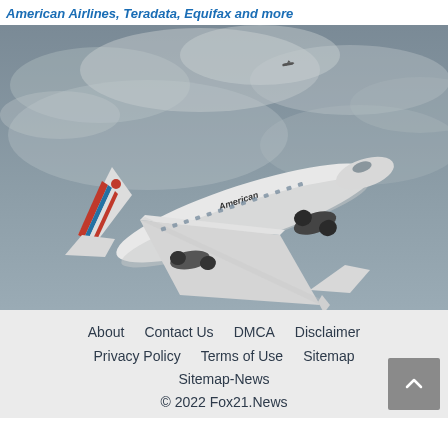American Airlines, Teradata, Equifax and more
[Figure (photo): An American Airlines commercial airplane in flight against a cloudy grey sky, with the distinctive red, white, and blue tail livery visible.]
About   Contact Us   DMCA   Disclaimer   Privacy Policy   Terms of Use   Sitemap   Sitemap-News   © 2022 Fox21.News